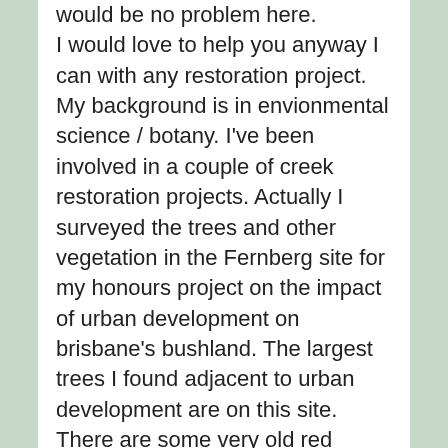would be no problem here. I would love to help you anyway I can with any restoration project. My background is in envionmental science / botany. I've been involved in a couple of creek restoration projects. Actually I surveyed the trees and other vegetation in the Fernberg site for my honours project on the impact of urban development on brisbane's bushland. The largest trees I found adjacent to urban development are on this site. There are some very old red gums below government house. The government house manager at that time was not very interested in maintaining the site in any natural condition. However, I still think that there might be a chance to have some restoration project on this site. They could well open up the lower section